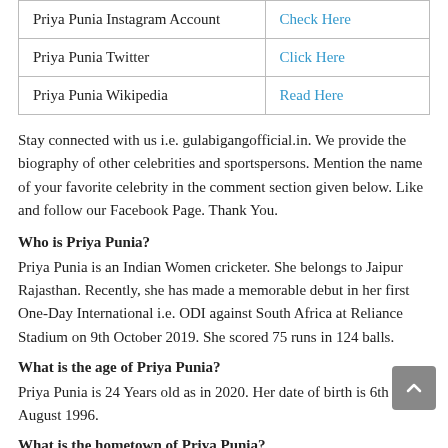|  |  |
| --- | --- |
| Priya Punia Instagram Account | Check Here |
| Priya Punia Twitter | Click Here |
| Priya Punia Wikipedia | Read Here |
Stay connected with us i.e. gulabigangofficial.in. We provide the biography of other celebrities and sportspersons. Mention the name of your favorite celebrity in the comment section given below. Like and follow our Facebook Page. Thank You.
Who is Priya Punia?
Priya Punia is an Indian Women cricketer. She belongs to Jaipur Rajasthan. Recently, she has made a memorable debut in her first One-Day International i.e. ODI against South Africa at Reliance Stadium on 9th October 2019. She scored 75 runs in 124 balls.
What is the age of Priya Punia?
Priya Punia is 24 Years old as in 2020. Her date of birth is 6th August 1996.
What is the hometown of Priya Punia?